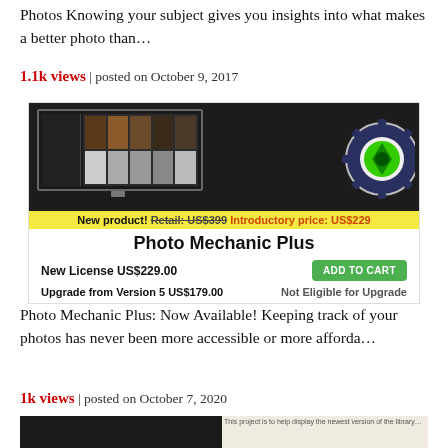Photos Knowing your subject gives you insights into what makes a better photo than…
1.1k views | posted on October 9, 2017
[Figure (screenshot): Photo Mechanic Plus product advertisement showing a monitor with photo library screenshots and a gear logo, with promotional pricing banner: New product! Retail: US$399 Introductory price: US$229. Product title: Photo Mechanic Plus. New License US$229.00 with ADD TO CART button. Upgrade from Version 5 US$179.00, Not Eligible for Upgrade.]
Photo Mechanic Plus: Now Available! Keeping track of your photos has never been more accessible or more afforda…
1k views | posted on October 7, 2020
[Figure (screenshot): Partial screenshot of another article at the bottom of the page]